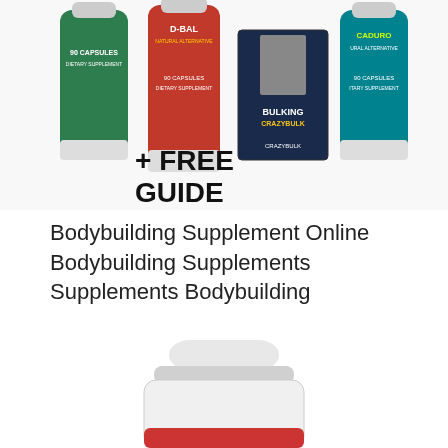[Figure (photo): Product photo showing multiple CrazyBulk supplement bottles (green, red, teal) and a Bulking guide book with text '+ FREE GUIDE' visible in large bold black text]
Bodybuilding Supplement Online Bodybuilding Supplements Supplements Bodybuilding
[Figure (photo): Close-up photo of a white supplement bottle, partially cropped, showing the cap and upper body of the bottle]